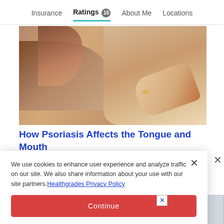Insurance  Ratings 16  About Me  Locations
[Figure (photo): A man looking in a mirror, touching his face/mouth with his hand, shirtless, checking for skin or oral symptoms]
How Psoriasis Affects the Tongue and Mouth
We use cookies to enhance user experience and analyze traffic on our site. We also share information about your use with our site partners. Healthgrades Privacy Policy
Continue
Access my Privacy Preferences